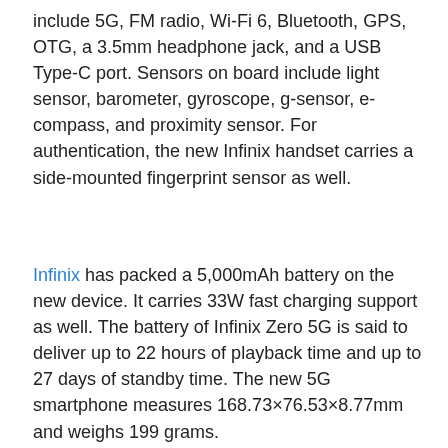include 5G, FM radio, Wi-Fi 6, Bluetooth, GPS, OTG, a 3.5mm headphone jack, and a USB Type-C port. Sensors on board include light sensor, barometer, gyroscope, g-sensor, e-compass, and proximity sensor. For authentication, the new Infinix handset carries a side-mounted fingerprint sensor as well.
Infinix has packed a 5,000mAh battery on the new device. It carries 33W fast charging support as well. The battery of Infinix Zero 5G is said to deliver up to 22 hours of playback time and up to 27 days of standby time. The new 5G smartphone measures 168.73×76.53×8.77mm and weighs 199 grams.
Affiliate links may be automatically generated – see our ethics statement for details.